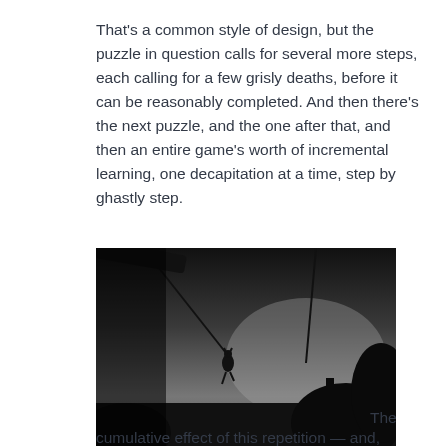That's a common style of design, but the puzzle in question calls for several more steps, each calling for a few grisly deaths, before it can be reasonably completed. And then there's the next puzzle, and the one after that, and then an entire game's worth of incremental learning, one decapitation at a time, step by ghastly step.
[Figure (photo): Black and white screenshot from the game Limbo showing a silhouetted figure swinging on a rope in a dark, atmospheric environment with dark tree silhouettes.]
The cumulative effect of this repetition — and, yeah, the frustration that comes with it — is that Limbo's